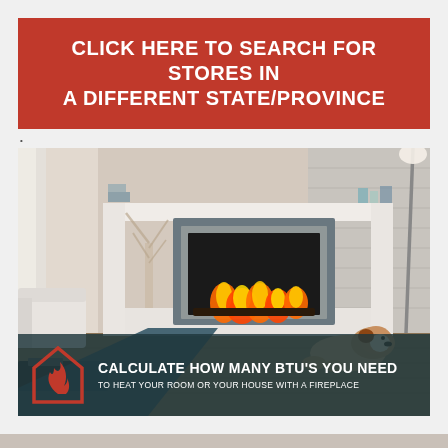CLICK HERE TO SEARCH FOR STORES IN A DIFFERENT STATE/PROVINCE
[Figure (photo): Modern living room with a built-in gas fireplace insert framed in grey stone surround, white mantel, decorative branches in vase, a bulldog lying on hardwood floor, white sofa, and a floor lamp. Overlay at the bottom shows a flame logo icon with text: CALCULATE HOW MANY BTU'S YOU NEED TO HEAT YOUR ROOM OR YOUR HOUSE WITH A FIREPLACE]